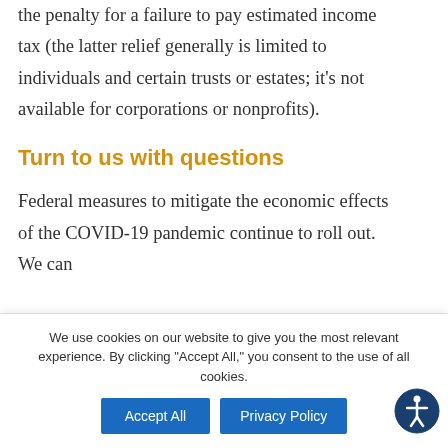the penalty for a failure to pay estimated income tax (the latter relief generally is limited to individuals and certain trusts or estates; it's not available for corporations or nonprofits).
Turn to us with questions
Federal measures to mitigate the economic effects of the COVID-19 pandemic continue to roll out. We can
We use cookies on our website to give you the most relevant experience. By clicking "Accept All," you consent to the use of all cookies.